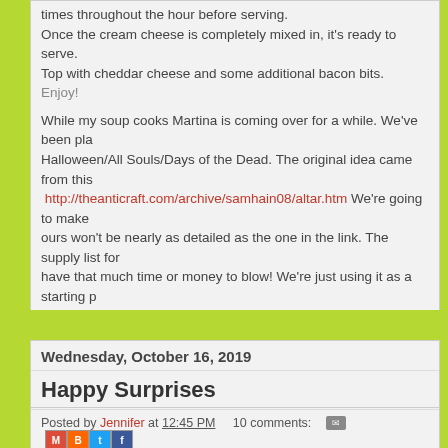times throughout the hour before serving.
Once the cream cheese is completely mixed in, it's ready to serve.
Top with cheddar cheese and some additional bacon bits.
Enjoy!
While my soup cooks Martina is coming over for a while. We've been planning a Halloween/All Souls/Days of the Dead. The original idea came from this http://theanticraft.com/archive/samhain08/altar.htm We're going to make ours won't be nearly as detailed as the one in the link. The supply list for have that much time or money to blow! We're just using it as a starting eventually share pictures of our completed ofrendas here on the blog. I'm with Martina making them, too. It should be fun.
Have a happy Sunday, everyone!
Posted by Jennifer at 12:45 PM    10 comments:
Labels: Autumn, soup recipes, Sunday supper
Wednesday, October 16, 2019
Happy Surprises